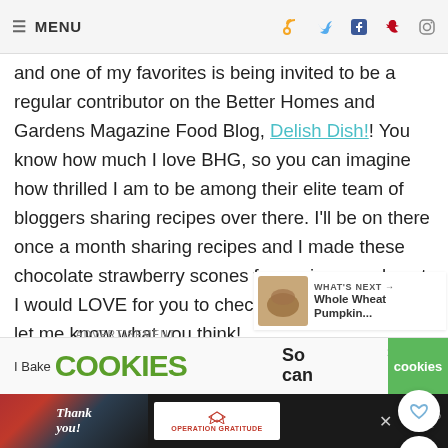MENU
and one of my favorites is being invited to be a regular contributor on the Better Homes and Gardens Magazine Food Blog, Delish Dish!! You know how much I love BHG, so you can imagine how thrilled I am to be among their elite team of bloggers sharing recipes over there. I'll be on there once a month sharing recipes and I made these chocolate strawberry scones for my inaugural post. I would LOVE for you to check it out over there and let me know what you think!
ADVERTISEMENT
[Figure (screenshot): WHAT'S NEXT arrow - Whole Wheat Pumpkin... thumbnail]
[Figure (screenshot): Advertisement banner: I Bake COOKIES, So can, cookies green box with X]
[Figure (screenshot): Bottom notification bar: Thank you with Operation Gratitude ad and close button]